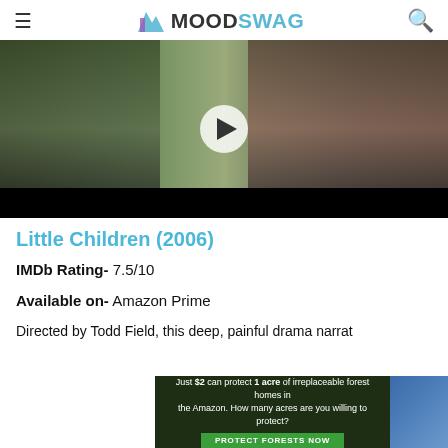MoodSwag
[Figure (screenshot): Video player screenshot showing a scene with a person doing bench press in a driveway, with a play button overlay. Black background borders.]
Little Children (2006)
IMDb Rating- 7.5/10
Available on- Amazon Prime
Directed by Todd Field, this deep, painful drama narrat
[Figure (screenshot): Advertisement banner: Just $2 can protect 1 acre of irreplaceable forest homes in the Amazon. How many acres are you willing to protect? PROTECT FORESTS NOW]